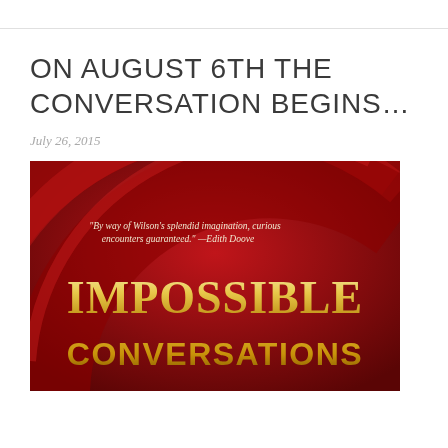ON AUGUST 6TH THE CONVERSATION BEGINS…
July 26, 2015
[Figure (illustration): Book cover for 'Impossible Conversations' on a dark red background with a large circular swooping arc design. A quote reads: "By way of Wilson's splendid imagination, curious encounters guaranteed." —Edith Doove. The title 'IMPOSSIBLE' is in large cream/gold serif letters and 'CONVERSATIONS' is in bold gold letters below.]